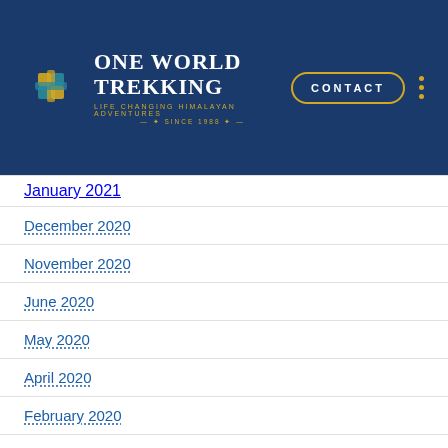One World Trekking — Life Changing Himalayan Adventures Since 1988
January 2021
December 2020
November 2020
June 2020
May 2020
April 2020
February 2020
January 2020
December 2019
November 2019